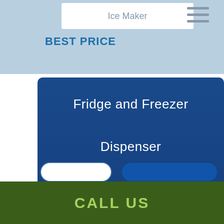Ice Maker
BEST PRICE
Fridge and Freezer
Dispenser
Sushi Case
Accessories
Search
CALL US